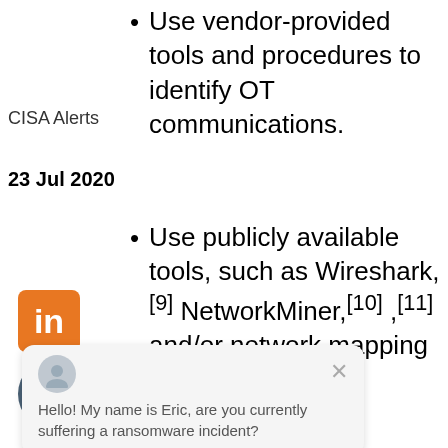Use vendor-provided tools and procedures to identify OT communications.
CISA Alerts
23 Jul 2020
Use publicly available tools, such as Wireshark,[9] NetworkMiner,[10] ,[11] and/or network mapping
Investigate all unauthorized OT communications.
Catalog all external connections to